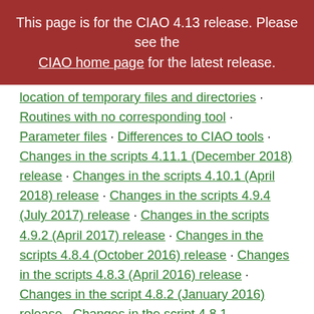This page is for the CIAO 4.13 release. Please see the CIAO home page for the latest release.
location of temporary files and directories · Routines with no corresponding tool · Parameter files · Differences to CIAO tools · Changes in the scripts 4.11.1 (December 2018) release · Changes in the scripts 4.10.1 (April 2018) release · Changes in the scripts 4.9.4 (July 2017) release · Changes in the scripts 4.9.2 (April 2017) release · Changes in the scripts 4.8.4 (October 2016) release · Changes in the scripts 4.8.3 (April 2016) release · Changes in the script 4.8.2 (January 2016) release · Changes in the script 4.8.1 (December 2015) release · Changes in the scripts 4.7.4 (September 2015) release · Changes in the scripts 4.7.2 (April 2015) release · Changes in the scripts 4.6.7 (October 2014) release · Changes in the scripts 4.6.6 (September 2014) release · Changes in the scripts 4.6.3